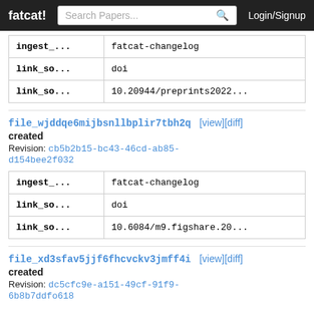fatcat!   Search Papers...   Login/Signup
| ingest_... | fatcat-changelog |
| link_so... | doi |
| link_so... | 10.20944/preprints2022... |
file_wjddqe6mijbsnllbplir7tbh2q [view][diff]
created
Revision: cb5b2b15-bc43-46cd-ab85-d154bee2f032
| ingest_... | fatcat-changelog |
| link_so... | doi |
| link_so... | 10.6084/m9.figshare.20... |
file_xd3sfav5jjf6fhcvckv3jmff4i [view][diff]
created
Revision: dc5cfc9e-a151-49cf-91f9-6b8b7ddfo618